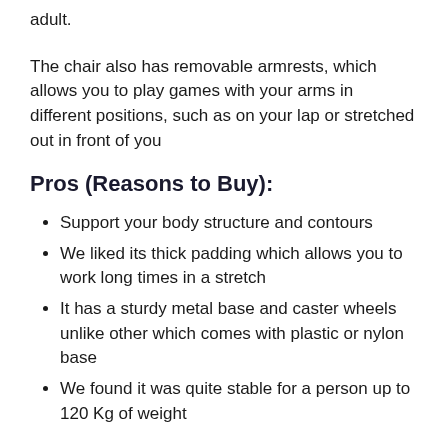adult.
The chair also has removable armrests, which allows you to play games with your arms in different positions, such as on your lap or stretched out in front of you
Pros (Reasons to Buy):
Support your body structure and contours
We liked its thick padding which allows you to work long times in a stretch
It has a sturdy metal base and caster wheels unlike other which comes with plastic or nylon base
We found it was quite stable for a person up to 120 Kg of weight